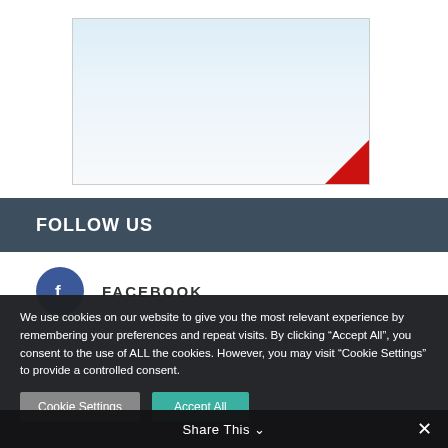[Figure (illustration): A partial web page screenshot showing a light blue/white gradient image area with a red triangular accent in the bottom-right corner.]
FOLLOW US
FACEBOOK
We use cookies on our website to give you the most relevant experience by remembering your preferences and repeat visits. By clicking “Accept All”, you consent to the use of ALL the cookies. However, you may visit "Cookie Settings" to provide a controlled consent.
Cookie Settings
Accept All
Share This ∨